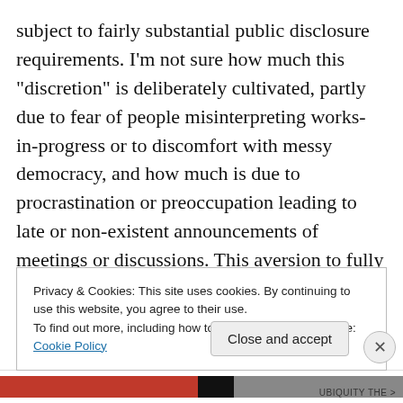subject to fairly substantial public disclosure requirements. I'm not sure how much this “discretion” is deliberately cultivated, partly due to fear of people misinterpreting works-in-progress or to discomfort with messy democracy, and how much is due to procrastination or preoccupation leading to late or non-existent announcements of meetings or discussions. This aversion to fully open discussion often leads to members or specific member subgroups feeling blindsided by policies that seem to appear suddenly out of nowhere. We would be better served in the long run by developing more habits of openness.
Privacy & Cookies: This site uses cookies. By continuing to use this website, you agree to their use.
To find out more, including how to control cookies, see here: Cookie Policy